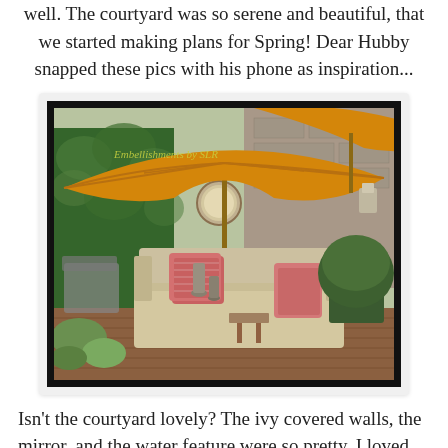well. The courtyard was so serene and beautiful, that we started making plans for Spring! Dear Hubby snapped these pics with his phone as inspiration...
[Figure (photo): Outdoor courtyard patio with large orange/yellow umbrella, beige sofa with coral/pink decorative pillows, potted boxwood shrubs, succulents, and garden furniture on a wood deck with stone walls in background. Watermark text reads 'Embellishments by SLR'.]
Isn't the courtyard lovely? The ivy covered walls, the mirror, and the water feature were so pretty. I loved the boxwoods and the potted succulents, as well. I think we'll be doing lots of these this year! With the water restrictions in place, we need things that are pretty drought tolerant. They also had several